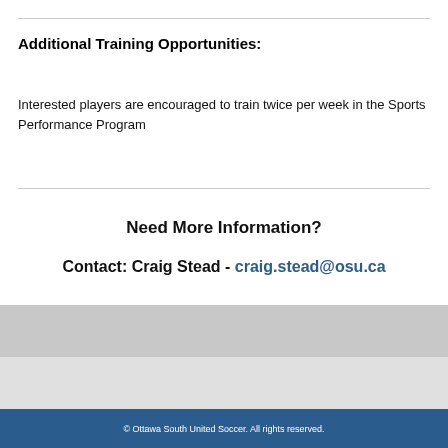Additional Training Opportunities:
Interested players are encouraged to train twice per week in the Sports Performance Program
Need More Information?
Contact: Craig Stead - craig.stead@osu.ca
© Ottawa South United Soccer. All rights reserved.